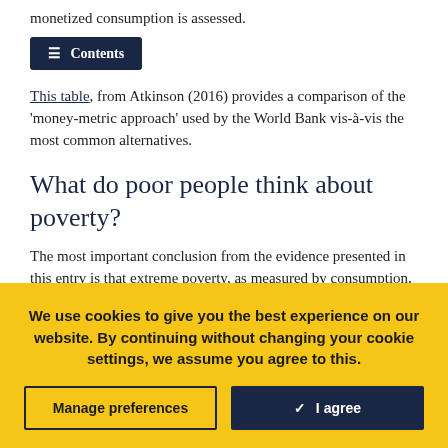monetized consumption is assessed.
This table, from Atkinson (2016) provides a comparison of the 'money-metric approach' used by the World Bank vis-à-vis the most common alternatives.
What do poor people think about poverty?
The most important conclusion from the evidence presented in this entry is that extreme poverty, as measured by consumption, has been going down around the world in the last two centuries. But why should we
We use cookies to give you the best experience on our website. By continuing without changing your cookie settings, we assume you agree to this.
Manage preferences
✓  I agree